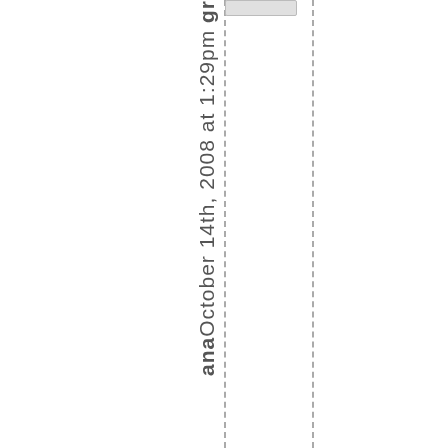ana October 14th, 2008 at 1:29pm gr